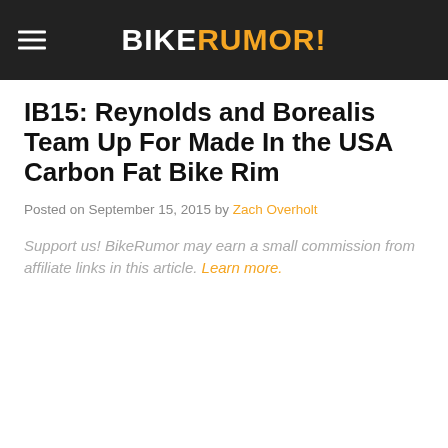BIKERUMOR!
IB15: Reynolds and Borealis Team Up For Made In the USA Carbon Fat Bike Rim
Posted on September 15, 2015 by Zach Overholt
Support us! BikeRumor may earn a small commission from affiliate links in this article. Learn more.